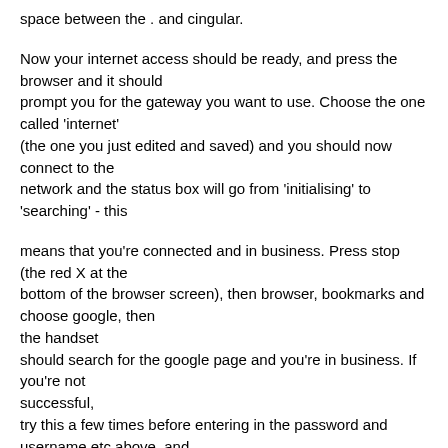space between the . and cingular.
Now your internet access should be ready, and press the browser and it should
prompt you for the gateway you want to use. Choose the one called 'internet'
(the one you just edited and saved) and you should now connect to the
network and the status box will go from 'initialising' to 'searching' - this
means that you're connected and in business. Press stop (the red X at the
bottom of the browser screen), then browser, bookmarks and choose google, then
the handset
should search for the google page and you're in business. If you're not
successful,
try this a few times before entering in the password and username etc above, and
then try
again before attempting the DNS setting in the default gprs/log in